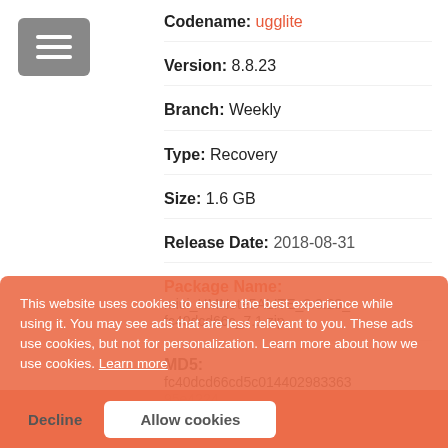Codename: ugglite
Version: 8.8.23
Branch: Weekly
Type: Recovery
Size: 1.6 GB
Release Date: 2018-08-31
Package Name: miui_HMNote5ALITE_8.8.23_fc40dcd66c_7.1.zip
MD5: fc40dcd66cd5c014402983363
95e4224
This website uses cookies to ensure the best experience while using it. You may see ads that are less relevant to you. These ads use cookies, but not for personalization. Learn more about how we use cookies. Learn more
Decline
Allow cookies